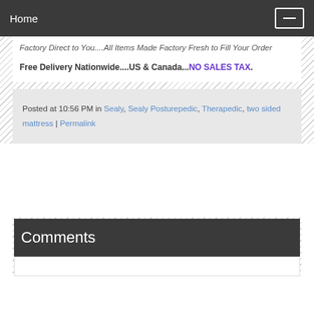Home
Factory Direct to You....All Items Made Factory Fresh to Fill Your Order
Free Delivery Nationwide....US & Canada...NO SALES TAX.
Posted at 10:56 PM in Sealy, Sealy Posturepedic, Therapedic, two sided mattress | Permalink
Comments